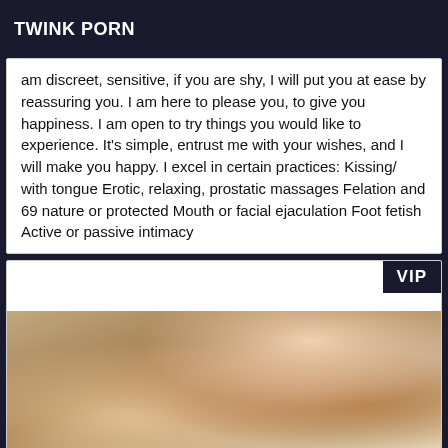TWINK PORN
am discreet, sensitive, if you are shy, I will put you at ease by reassuring you. I am here to please you, to give you happiness. I am open to try things you would like to experience. It's simple, entrust me with your wishes, and I will make you happy. I excel in certain practices: Kissing/ with tongue Erotic, relaxing, prostatic massages Felation and 69 nature or protected Mouth or facial ejaculation Foot fetish Active or passive intimacy
[Figure (photo): Photo of a young woman with long brown hair, wearing a sparkly outfit, lying on white bedding. A VIP badge appears in the top right corner of the card.]